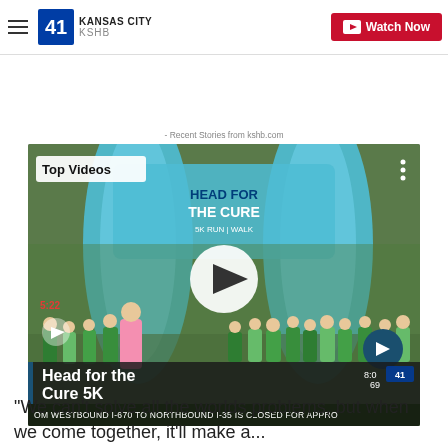41 KANSAS CITY KSHB | Watch Now
week in Indianapolis but was denied entry because of his service dog.
- Recent Stories from kshb.com
[Figure (screenshot): Video thumbnail showing a 'Head for the Cure 5K Run Walk' event with an inflatable arch. People in green t-shirts are gathered. Top-left label reads 'Top Videos'. A play button is centered. Arrow navigation button on right. Caption bar reads 'Head for the Cure 5K'. Ticker bar at bottom reads 'OM WESTBOUND I-670 TO NORTHBOUND I-35 IS CLOSED FOR APPRO'.]
"We can't solve all the worlds problems, but when we come together, it'll make a..."